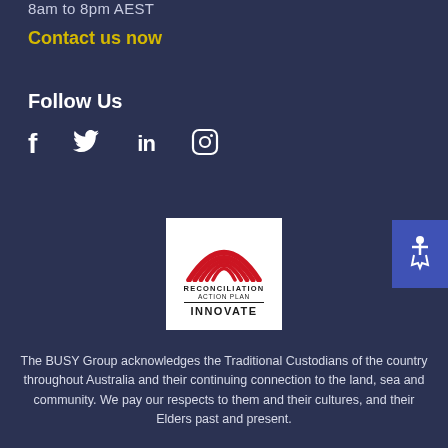8am to 8pm AEST
Contact us now
Follow Us
[Figure (infographic): Social media icons: Facebook (f), Twitter (bird), LinkedIn (in), Instagram (camera/circle)]
[Figure (logo): Reconciliation Action Plan - Innovate logo with red rainbow arcs above text reading RECONCILIATION ACTION PLAN INNOVATE]
The BUSY Group acknowledges the Traditional Custodians of the country throughout Australia and their continuing connection to the land, sea and community. We pay our respects to them and their cultures, and their Elders past and present.